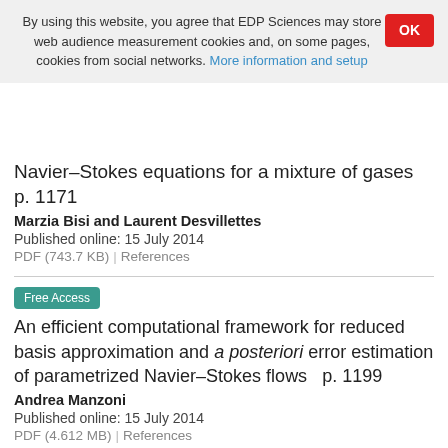By using this website, you agree that EDP Sciences may store web audience measurement cookies and, on some pages, cookies from social networks. More information and setup
OK
Navier–Stokes equations for a mixture of gases   p. 1171
Marzia Bisi and Laurent Desvillettes
Published online: 15 July 2014
PDF (743.7 KB)  |  References
Free Access
An efficient computational framework for reduced basis approximation and a posteriori error estimation of parametrized Navier–Stokes flows   p. 1199
Andrea Manzoni
Published online: 15 July 2014
PDF (4.612 MB)  |  References